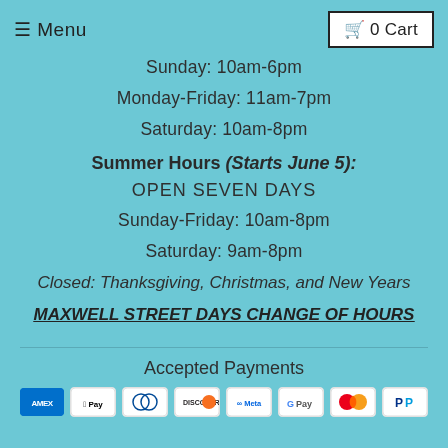≡ Menu   🛒 0 Cart
Sunday: 10am-6pm
Monday-Friday: 11am-7pm
Saturday: 10am-8pm
Summer Hours (Starts June 5):
OPEN SEVEN DAYS
Sunday-Friday: 10am-8pm
Saturday: 9am-8pm
Closed: Thanksgiving, Christmas, and New Years
MAXWELL STREET DAYS CHANGE OF HOURS
Accepted Payments
[Figure (other): Row of accepted payment method logos: American Express, Apple Pay, Diners Club, Discover, Meta Pay, Google Pay, Mastercard, PayPal, and more]